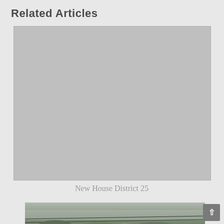Related Articles
[Figure (photo): A mostly grey/overcast sky photo, appearing washed out or blank — placeholder image for New House District 25 article]
New House District 25
[Figure (photo): Partial photo showing tree branches and power/cable lines against a grey sky, cropped at the bottom of the page]